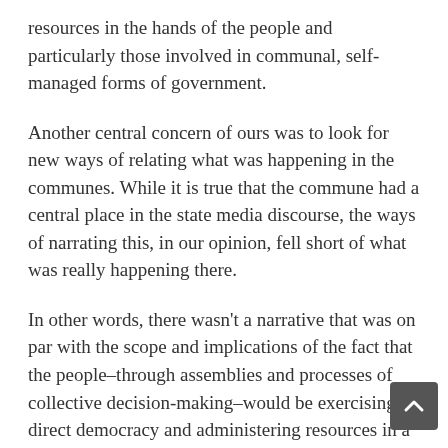resources in the hands of the people and particularly those involved in communal, self-managed forms of government.
Another central concern of ours was to look for new ways of relating what was happening in the communes. While it is true that the commune had a central place in the state media discourse, the ways of narrating this, in our opinion, fell short of what was really happening there.
In other words, there wasn’t a narrative that was on par with the scope and implications of the fact that the people–through assemblies and processes of collective decision-making–would be exercising direct democracy and administering resources in a novel exercise of local power. Organized communities would now be diagnosing, planning, designing and executing public policies at the community level. In other words, there was a new power emerging from and by the people, b[ut] in the [state] media that story wasn’t being told.